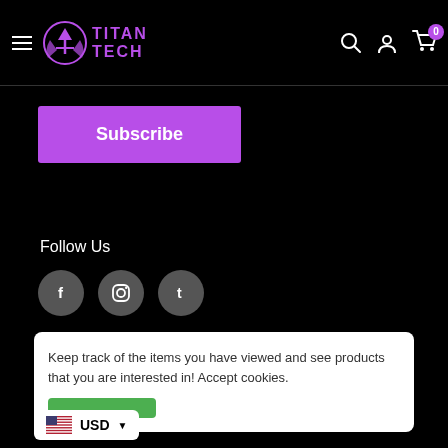Titan Tech
[Figure (screenshot): Subscribe button (purple/magenta) with white bold text]
Follow Us
[Figure (illustration): Three social media icons: Facebook (f), Instagram, Tumblr (t) — dark grey circles]
We Accept
[Figure (illustration): Payment method logos: Apple Pay, Google Pay, Mastercard, OPay, Visa, Zip]
Keep track of the items you have viewed and see products that you are interested in! Accept cookies.
[Figure (illustration): Currency selector showing US flag and USD with dropdown arrow]